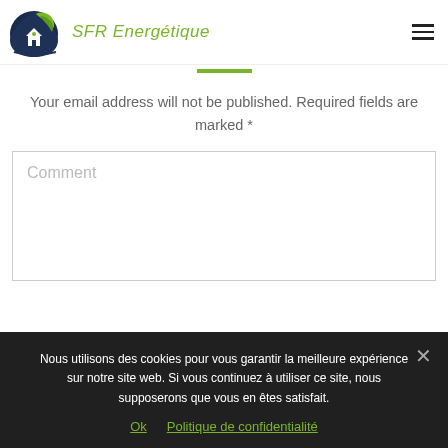[Figure (logo): SFR Energétique logo with a house and leaf icon in dark blue and green, company name in green italic text]
Your email address will not be published. Required fields are marked *
Comment
Nous utilisons des cookies pour vous garantir la meilleure expérience sur notre site web. Si vous continuez à utiliser ce site, nous supposerons que vous en êtes satisfait.
Ok  Politique de confidentialité